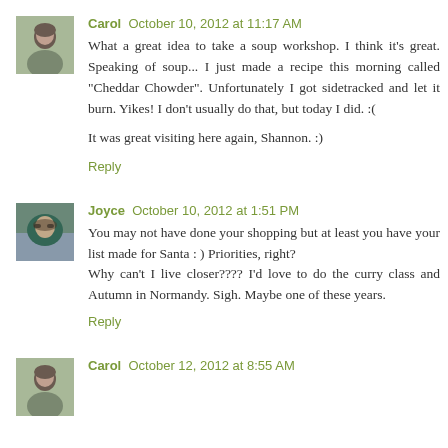[Figure (photo): Avatar photo of Carol - woman with dark hair]
Carol October 10, 2012 at 11:17 AM
What a great idea to take a soup workshop. I think it's great. Speaking of soup... I just made a recipe this morning called "Cheddar Chowder". Unfortunately I got sidetracked and let it burn. Yikes! I don't usually do that, but today I did. :(

It was great visiting here again, Shannon. :)
Reply
[Figure (photo): Avatar photo of Joyce - person with sunglasses outdoors]
Joyce October 10, 2012 at 1:51 PM
You may not have done your shopping but at least you have your list made for Santa : ) Priorities, right?
Why can't I live closer???? I'd love to do the curry class and Autumn in Normandy. Sigh. Maybe one of these years.
Reply
[Figure (photo): Avatar photo of Carol - woman with dark hair]
Carol October 12, 2012 at 8:55 AM